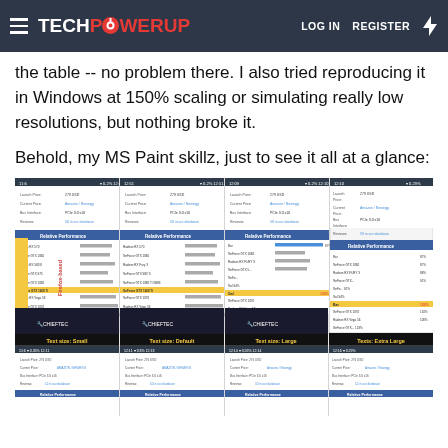TECHPOWERUP  LOG IN  REGISTER
the table -- no problem there. I also tried reproducing it in Windows at 150% scaling or simulating really low resolutions, but nothing broke it.
Behold, my MS Paint skillz, just to see it all at a glance:
[Figure (screenshot): Four-panel screenshot of TechPowerUp GPU comparison table at different text sizes: Small, Default, Large, Extra Large. Each panel shows a mobile browser view with GPU benchmark data and a Chieftec advertisement. A second row of four panels shows additional browser views. A yellow 'Firefox-based' label appears on the left side. Bottom row labels: Text size: Small, Text size: Default, Text size: Large, Texts: Extra Large.]